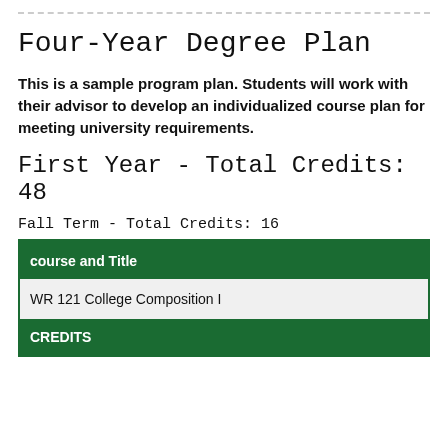Four-Year Degree Plan
This is a sample program plan. Students will work with their advisor to develop an individualized course plan for meeting university requirements.
First Year - Total Credits: 48
Fall Term - Total Credits: 16
| course and Title | CREDITS |
| --- | --- |
| WR 121 College Composition I |  |